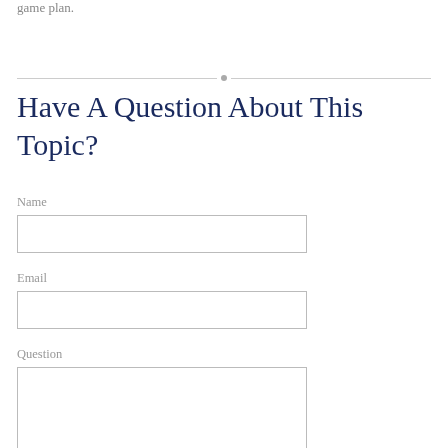game plan.
Have A Question About This Topic?
Name
Email
Question